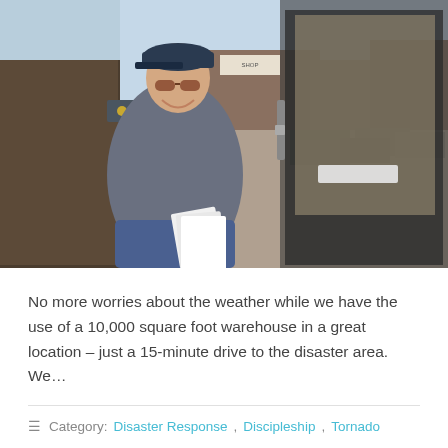[Figure (photo): A smiling middle-aged man wearing a baseball cap, sunglasses, and a grey fleece jacket, holding papers, standing at a glass door entrance to a building. Parking lot visible through the glass door with several pickup trucks. Bare trees in background.]
No more worries about the weather while we have the use of a 10,000 square foot warehouse in a great location – just a 15-minute drive to the disaster area. We...
Category: Disaster Response, Discipleship, Tornado